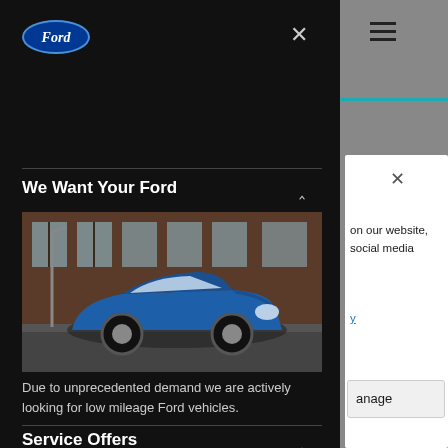[Figure (logo): Ford oval blue logo in top-left of dark navigation panel]
We Want Your Ford
[Figure (photo): Blue Ford Focus ST hatchback parked on a street in front of a red brick building]
Due to unprecedented demand we are actively looking for low mileage Ford vehicles.
> Get an Instant Valuation
Service Offers
on our website, social media
anage